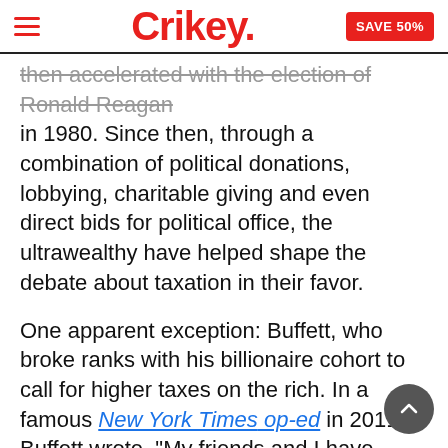Crikey. SAVE 50%
then accelerated with the election of Ronald Reagan in 1980. Since then, through a combination of political donations, lobbying, charitable giving and even direct bids for political office, the ultrawealthy have helped shape the debate about taxation in their favor.
One apparent exception: Buffett, who broke ranks with his billionaire cohort to call for higher taxes on the rich. In a famous New York Times op-ed in 2011, Buffett wrote, “My friends and I have been coddled long enough by a billionaire-friendly Congress. It’s time for our government to get serious about shared sacrifice.”